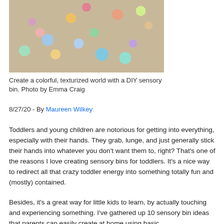[Figure (photo): Colorful sensory bin items including pom-poms, foam pieces, measuring cups, and craft supplies scattered on a surface]
Create a colorful, texturized world with a DIY sensory bin. Photo by Emma Craig
8/27/20 - By Maureen Wilkey
Toddlers and young children are notorious for getting into everything, especially with their hands. They grab, lunge, and just generally stick their hands into whatever you don't want them to, right? That's one of the reasons I love creating sensory bins for toddlers. It's a nice way to redirect all that crazy toddler energy into something totally fun and (mostly) contained.
Besides, it's a great way for little kids to learn, by actually touching and experiencing something. I've gathered up 10 sensory bin ideas that parents can easily create at home using basic